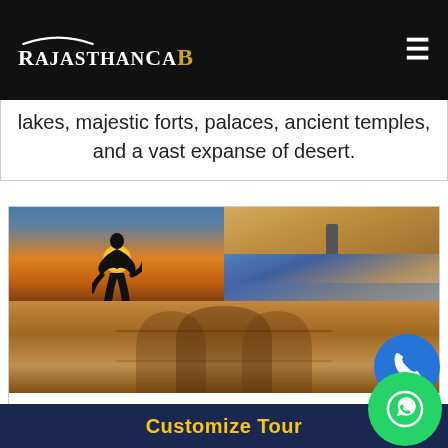RajasthanCaB
lakes, majestic forts, palaces, ancient temples, and a vast expanse of desert.
[Figure (photo): Collage of Rajasthan travel images: silhouette of a dancer against sunset, desert landscape, city lake view, and ornate fort/palace architecture from below]
Rajasthan Family Tour Pack
Duration : 8 Nights / 9 Days
Customize Tour